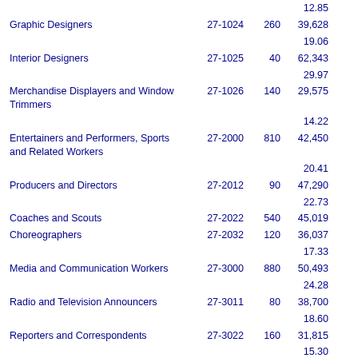| Occupation | SOC Code | Emp | Ann. Salary | Hrly |
| --- | --- | --- | --- | --- |
|  |  |  | 12.85 |  |
| Graphic Designers | 27-1024 | 260 | 39,628 | 2 |
|  |  |  | 19.06 |  |
| Interior Designers | 27-1025 | 40 | 62,343 | 4 |
|  |  |  | 29.97 |  |
| Merchandise Displayers and Window Trimmers | 27-1026 | 140 | 29,575 | 2 |
|  |  |  | 14.22 |  |
| Entertainers and Performers, Sports and Related Workers | 27-2000 | 810 | 42,450 | 1 |
|  |  |  | 20.41 |  |
| Producers and Directors | 27-2012 | 90 | 47,290 | 2 |
|  |  |  | 22.73 |  |
| Coaches and Scouts | 27-2022 | 540 | 45,019 | 1 |
| Choreographers | 27-2032 | 120 | 36,037 | 2 |
|  |  |  | 17.33 |  |
| Media and Communication Workers | 27-3000 | 880 | 50,493 | 2 |
|  |  |  | 24.28 |  |
| Radio and Television Announcers | 27-3011 | 80 | 38,700 | 1 |
|  |  |  | 18.60 |  |
| Reporters and Correspondents | 27-3022 | 160 | 31,815 | 2 |
|  |  |  | 15.30 |  |
| Public Relations Specialists | 27-3031 | 410 | 60,153 | 3 |
|  |  |  | 28.92 |  |
| Editors | 27-3041 | 110 | 51,008 | 3 |
|  |  |  | 24.52 |  |
| Technical Writers | 27-3042 | 30 | 65,895 | 5 |
|  |  |  | 31.68 |  |